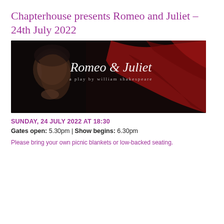Chapterhouse presents Romeo and Juliet – 24th July 2022
[Figure (photo): Promotional banner image for Romeo & Juliet play. Dark background with red fabric/drapes, a man's face on the left side, and text reading 'Romeo & Juliet a play by william shakespeare' in white serif font.]
SUNDAY, 24 JULY 2022 AT 18:30
Gates open: 5.30pm | Show begins: 6.30pm
Please bring your own picnic blankets or low-backed seating.